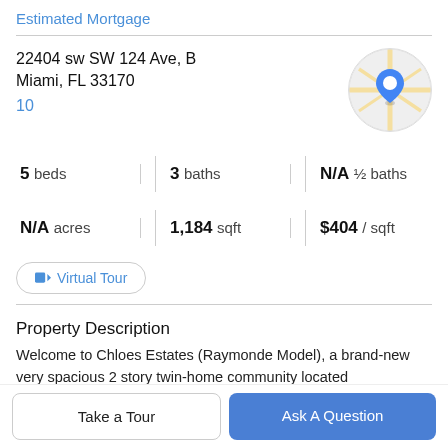Estimated Mortgage
22404 sw SW 124 Ave, B
Miami, FL 33170
10
[Figure (map): Circular map thumbnail showing street map with a blue location pin marker]
| 5 beds | 3 baths | N/A ½ baths |
| N/A acres | 1,184 sqft | $404 / sqft |
Virtual Tour
Property Description
Welcome to Chloes Estates (Raymonde Model), a brand-new very spacious 2 story twin-home community located
Take a Tour
Ask A Question